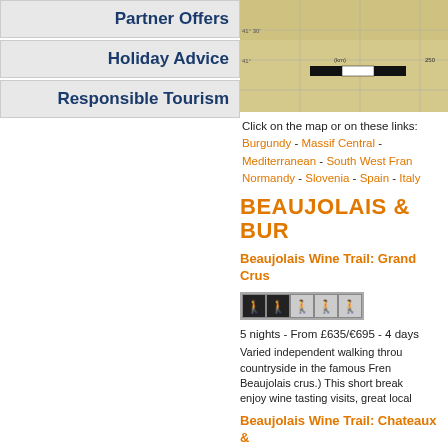Partner Offers
Holiday Advice
Responsible Tourism
[Figure (map): Topographic map with scale bar showing black and white segments]
Click on the map or on these links: Burgundy - Massif Central - Mediterranean - South West France - Normandy - Slovenia - Spain - Italy
BEAUJOLAIS & BURGUNDY
Beaujolais Wine Trail: Grand Crus
[Figure (infographic): Difficulty rating icons: 2 active walkers, 3 inactive walkers on yellow background]
5 nights - From £635/€695 - 4 days walking
Varied independent walking through countryside in the famous French Beaujolais crus.) This short break - enjoy wine tasting visits, great local food
Beaujolais Wine Trail: Chateaux & Villages
[Figure (infographic): Difficulty rating icons: 2 active walkers, 3 inactive walkers on yellow background]
6 nights - From £755/€830 - 5 days walking